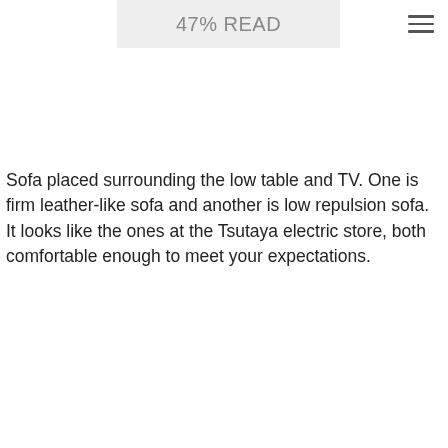47% READ
Sofa placed surrounding the low table and TV. One is firm leather-like sofa and another is low repulsion sofa. It looks like the ones at the Tsutaya electric store, both comfortable enough to meet your expectations.